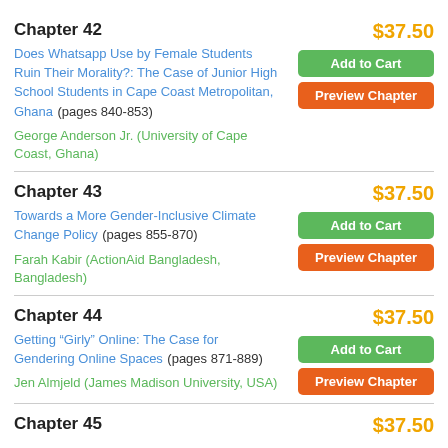Chapter 42
Does Whatsapp Use by Female Students Ruin Their Morality?: The Case of Junior High School Students in Cape Coast Metropolitan, Ghana (pages 840-853)
George Anderson Jr. (University of Cape Coast, Ghana)
$37.50
Chapter 43
Towards a More Gender-Inclusive Climate Change Policy (pages 855-870)
Farah Kabir (ActionAid Bangladesh, Bangladesh)
$37.50
Chapter 44
Getting “Girly” Online: The Case for Gendering Online Spaces (pages 871-889)
Jen Almjeld (James Madison University, USA)
$37.50
Chapter 45
$37.50